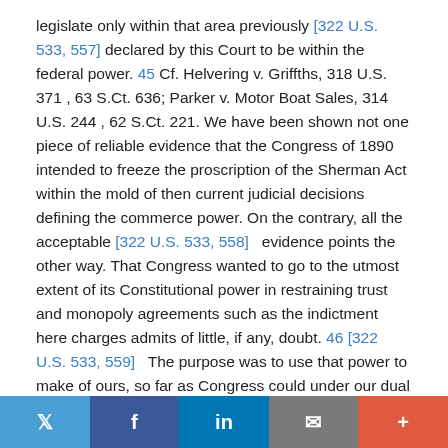legislate only within that area previously [322 U.S. 533, 557] declared by this Court to be within the federal power. 45 Cf. Helvering v. Griffths, 318 U.S. 371 , 63 S.Ct. 636; Parker v. Motor Boat Sales, 314 U.S. 244 , 62 S.Ct. 221. We have been shown not one piece of reliable evidence that the Congress of 1890 intended to freeze the proscription of the Sherman Act within the mold of then current judicial decisions defining the commerce power. On the contrary, all the acceptable [322 U.S. 533, 558]   evidence points the other way. That Congress wanted to go to the utmost extent of its Constitutional power in restraining trust and monopoly agreements such as the indictment here charges admits of little, if any, doubt. 46 [322 U.S. 533, 559]   The purpose was to use that power to make of ours, so far as Congress could under our dual system, a competitive business economy. 47 Nor is it sufficient to justify our reading into the Act an
Twitter | Facebook | LinkedIn | Email | More